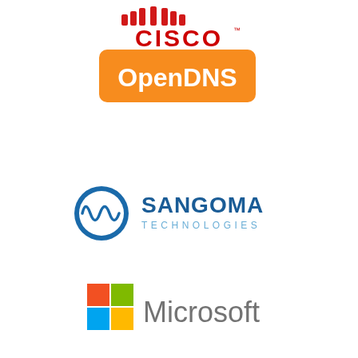[Figure (logo): Cisco logo in dark red/crimson capital letters with trademark symbol]
[Figure (logo): OpenDNS logo: white text 'OpenDNS' on orange rounded rectangle background]
[Figure (logo): Sangoma Technologies logo: blue circular icon with waveform and blue text 'SANGOMA TECHNOLOGIES']
[Figure (logo): Microsoft logo: four-color Windows flag icon (red, green, blue, yellow squares) followed by 'Microsoft' in gray text]